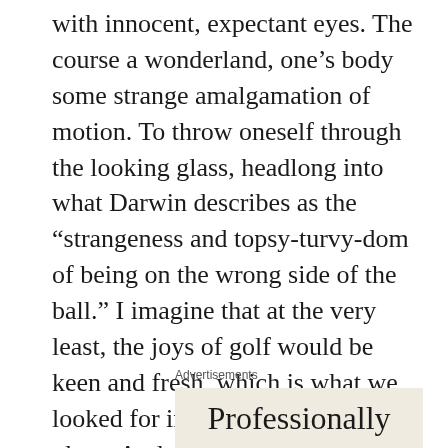with innocent, expectant eyes. The course a wonderland, one's body some strange amalgamation of motion. To throw oneself through the looking glass, headlong into what Darwin describes as the “strangeness and topsy-turvy-dom of being on the wrong side of the ball.” I imagine that at the very least, the joys of golf would be keen and fresh, which is what we looked for in the game in the first place. And perhaps what Tron Carter has found in his reborn golfing life.
Advertisements
[Figure (other): Advertisement box with text 'Professionally' visible at bottom]